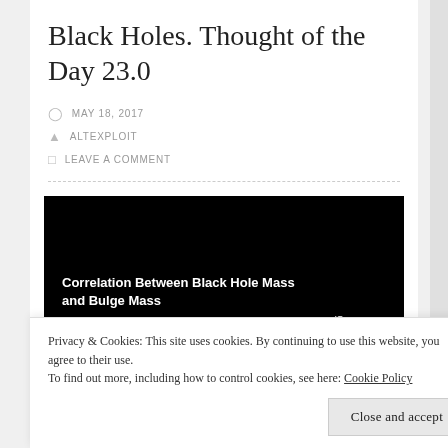Black Holes. Thought of the Day 23.0
MAY 18, 2017
ALTEXPLOIT
LEAVE A COMMENT
[Figure (screenshot): A dark background image showing the title 'Correlation Between Black Hole Mass and Bulge Mass' in white bold text on the left, and the label 'Quasars' with a small arrow/line on the right side.]
Privacy & Cookies: This site uses cookies. By continuing to use this website, you agree to their use.
To find out more, including how to control cookies, see here: Cookie Policy
Close and accept